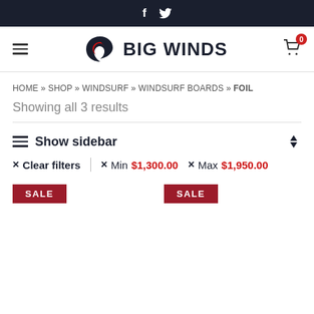f  [twitter bird icon]
[Figure (logo): Big Winds logo with stylized red and black B letter and text BIG WINDS]
HOME » SHOP » WINDSURF » WINDSURF BOARDS » FOIL
Showing all 3 results
≡ Show sidebar
× Clear filters  |  × Min $1,300.00  × Max $1,950.00
SALE
SALE